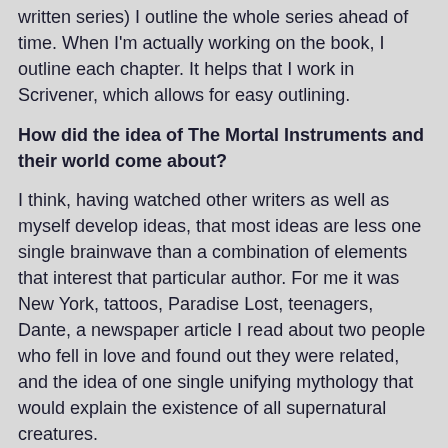written series) I outline the whole series ahead of time. When I'm actually working on the book, I outline each chapter. It helps that I work in Scrivener, which allows for easy outlining.
How did the idea of The Mortal Instruments and their world come about?
I think, having watched other writers as well as myself develop ideas, that most ideas are less one single brainwave than a combination of elements that interest that particular author. For me it was New York, tattoos, Paradise Lost, teenagers, Dante, a newspaper article I read about two people who fell in love and found out they were related, and the idea of one single unifying mythology that would explain the existence of all supernatural creatures.
Have you always been interested in this genre?
Dark and urban fantasy? Not always; as a kid, I mostly read high fantasy until I was introduced to the Borderlands series created by Terri Windling. (http://www.endicott-